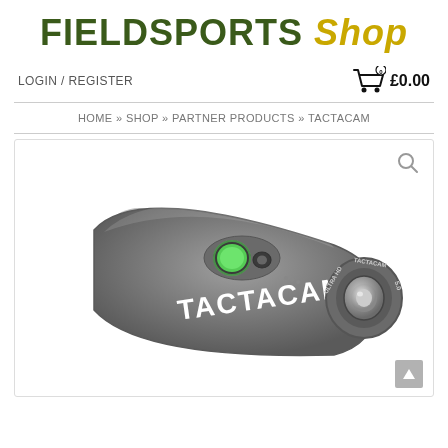FIELDSPORTS Shop
LOGIN / REGISTER
0  £0.00
HOME » SHOP » PARTNER PRODUCTS » TACTACAM
[Figure (photo): Tactacam 5.0 Ultra HD action camera, cylindrical grey body with green glowing buttons on top and lens on the right end, brand name TACTACAM printed on side.]